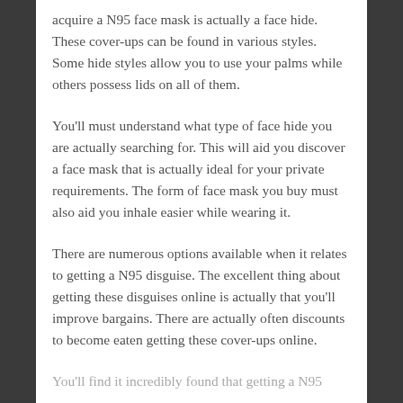acquire a N95 face mask is actually a face hide. These cover-ups can be found in various styles. Some hide styles allow you to use your palms while others possess lids on all of them.
You'll must understand what type of face hide you are actually searching for. This will aid you discover a face mask that is actually ideal for your private requirements. The form of face mask you buy must also aid you inhale easier while wearing it.
There are numerous options available when it relates to getting a N95 disguise. The excellent thing about getting these disguises online is actually that you'll improve bargains. There are actually often discounts to become eaten getting these cover-ups online.
You'll find it incredibly found that getting a N95...